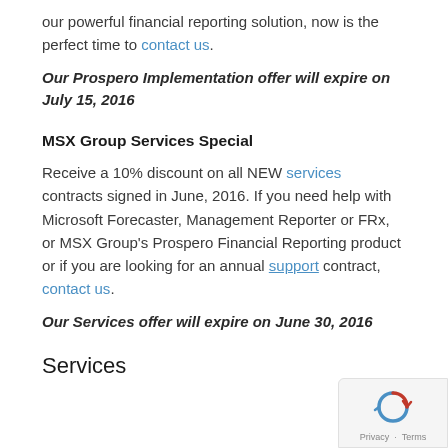our powerful financial reporting solution, now is the perfect time to contact us.
Our Prospero Implementation offer will expire on July 15, 2016
MSX Group Services Special
Receive a 10% discount on all NEW services contracts signed in June, 2016. If you need help with Microsoft Forecaster, Management Reporter or FRx, or MSX Group's Prospero Financial Reporting product or if you are looking for an annual support contract, contact us.
Our Services offer will expire on June 30, 2016
Services